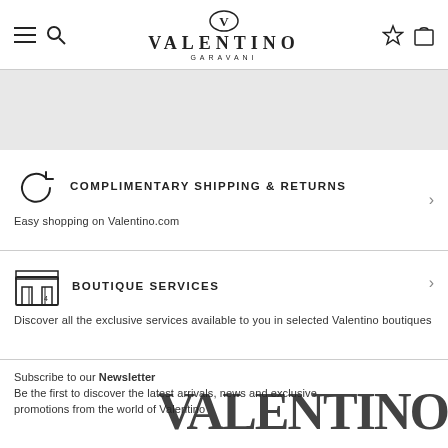VALENTINO GARAVANI
[Figure (screenshot): Gray empty area below navigation header]
COMPLIMENTARY SHIPPING & RETURNS
Easy shopping on Valentino.com
BOUTIQUE SERVICES
Discover all the exclusive services available to you in selected Valentino boutiques
Subscribe to our Newsletter
Be the first to discover the latest arrivals, news and exclusive promotions from the world of Valentino